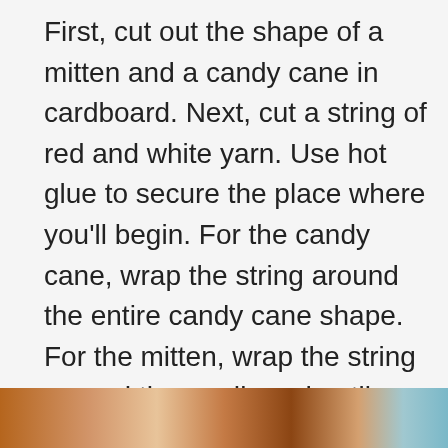First, cut out the shape of a mitten and a candy cane in cardboard. Next, cut a string of red and white yarn. Use hot glue to secure the place where you'll begin. For the candy cane, wrap the string around the entire candy cane shape. For the mitten, wrap the string around the cardboard until you cover the thumb portion of the shape, then cut the string. Hot glue where you began again, and keep wrapping until the mitten is completely covered in yarn. Hook a paperclip in the yarn or glue a paperclip on the back.
[Figure (photo): Partial photo strip at the bottom showing yarn-wrapped crafts in red, white and other colors]